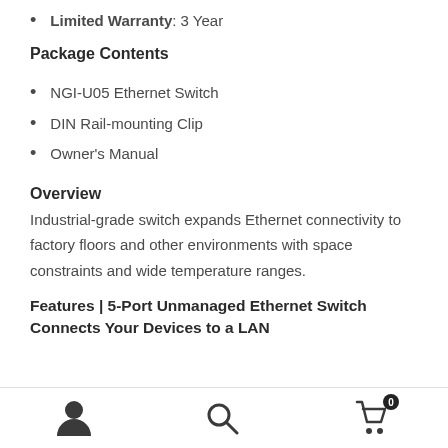Limited Warranty: 3 Year
Package Contents
NGI-U05 Ethernet Switch
DIN Rail-mounting Clip
Owner's Manual
Overview
Industrial-grade switch expands Ethernet connectivity to factory floors and other environments with space constraints and wide temperature ranges.
Features | 5-Port Unmanaged Ethernet Switch Connects Your Devices to a LAN
Navigation icons: user, search, cart (0)